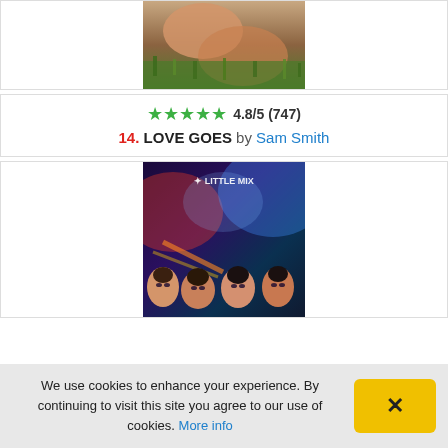[Figure (photo): Album cover for Sam Smith - Love Goes, cropped top portion showing hands in grass]
★★★★★ 4.8/5 (747)
14. LOVE GOES by Sam Smith
[Figure (photo): Album cover for Little Mix - Confetti, showing four band members with colorful background]
We use cookies to enhance your experience. By continuing to visit this site you agree to our use of cookies. More info